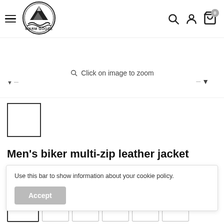[Figure (logo): Warm Goose brand logo - circular logo with mountain peak illustration and wings/wave motif below, with bold text WARM GOOSE]
[Figure (screenshot): Product image area showing image viewer with zoom hint and navigation arrows]
[Figure (screenshot): Thumbnail image placeholder box with border]
Men's biker multi-zip leather jacket
Use this bar to show information about your cookie policy.